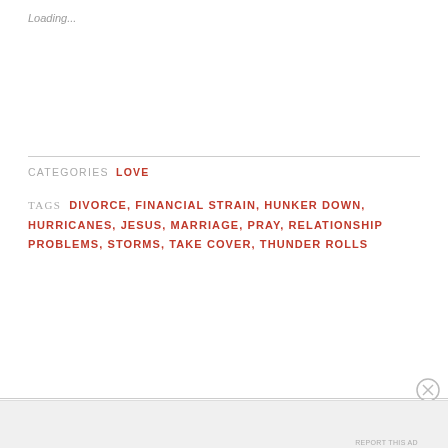Loading...
CATEGORIES  LOVE
TAGS  DIVORCE, FINANCIAL STRAIN, HUNKER DOWN, HURRICANES, JESUS, MARRIAGE, PRAY, RELATIONSHIP PROBLEMS, STORMS, TAKE COVER, THUNDER ROLLS
OLDER POSTS
Advertisements
Build a writing habit. Post on the go.
GET THE APP